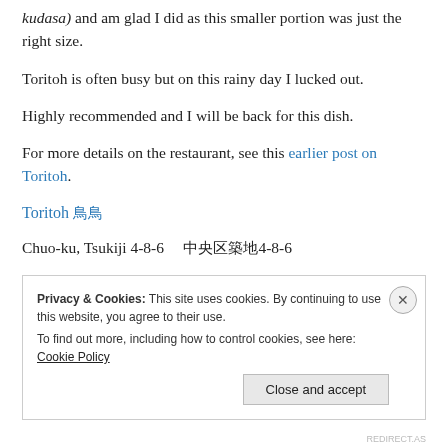kudasa) and am glad I did as this smaller portion was just the right size.
Toritoh is often busy but on this rainy day I lucked out.
Highly recommended and I will be back for this dish.
For more details on the restaurant, see this earlier post on Toritoh.
Toritoh 鳥
Chuo-ku, Tsukiji 4-8-6   中央区築地4-8-6
Privacy & Cookies: This site uses cookies. By continuing to use this website, you agree to their use. To find out more, including how to control cookies, see here: Cookie Policy
REDIRECT.AS